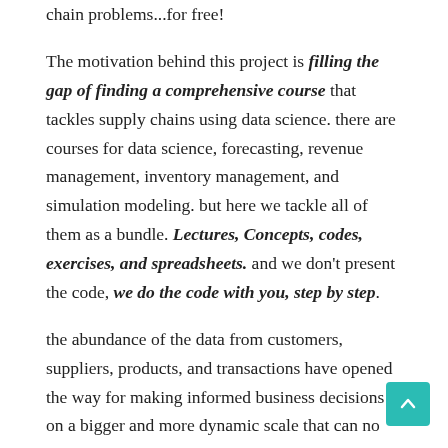chain problems...for free!
The motivation behind this project is filling the gap of finding a comprehensive course that tackles supply chains using data science. there are courses for data science, forecasting, revenue management, inventory management, and simulation modeling. but here we tackle all of them as a bundle. Lectures, Concepts, codes, exercises, and spreadsheets. and we don't present the code, we do the code with you, step by step.
the abundance of the data from customers, suppliers, products, and transactions have opened the way for making informed business decisions on a bigger and more dynamic scale that can no longer be achieved by spreadsheets. In this course, we learn data science from a supply chain mindset.
Don't worry. If you don't know how to code, we learn